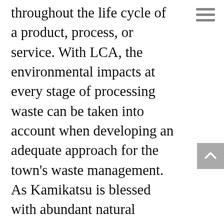throughout the life cycle of a product, process, or service. With LCA, the environmental impacts at every stage of processing waste can be taken into account when developing an adequate approach for the town's waste management. As Kamikatsu is blessed with abundant natural resources, washing recyclables before disposal doesn't burden their environment. But, this approach and system may not apply to other towns or places.
"The key is how we think about it. The number of classification types is only a